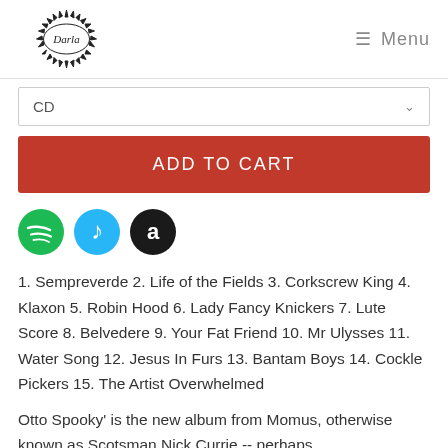Darla — Menu
[Figure (screenshot): CD format dropdown selector]
[Figure (illustration): ADD TO CART red button]
[Figure (logo): Spotify, Apple Music, and Amazon streaming icons]
1. Sempreverde 2. Life of the Fields 3. Corkscrew King 4. Klaxon 5. Robin Hood 6. Lady Fancy Knickers 7. Lute Score 8. Belvedere 9. Your Fat Friend 10. Mr Ulysses 11. Water Song 12. Jesus In Furs 13. Bantam Boys 14. Cockle Pickers 15. The Artist Overwhelmed
Otto Spooky' is the new album from Momus, otherwise known as Scotsman Nick Currie -- perhaps